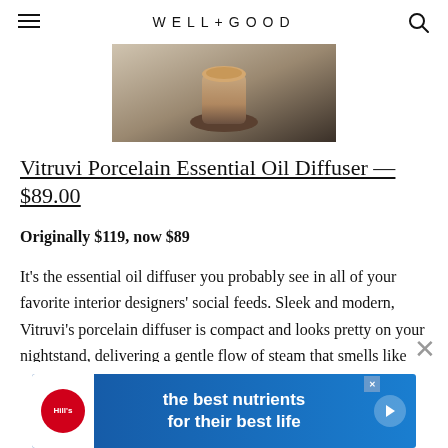WELL+GOOD
[Figure (photo): Product photo of a Vitruvi Porcelain Essential Oil Diffuser, shown from above at an angle on a neutral background, tan/brown tones.]
Vitruvi Porcelain Essential Oil Diffuser — $89.00
Originally $119, now $89
It's the essential oil diffuser you probably see in all of your favorite interior designers' social feeds. Sleek and modern, Vitruvi's porcelain diffuser is compact and looks pretty on your nightstand, delivering a gentle flow of steam that smells like your go-to oil blends. It features a safety off switch, so you can leave it on at
[Figure (advertisement): Hill's Pet Nutrition advertisement with blue background, Hill's logo in red circle, and text: 'the best nutrients for their best life']